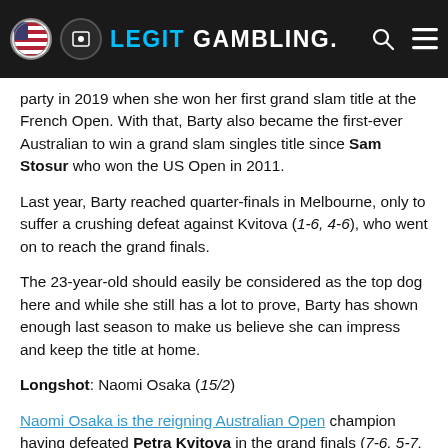LEGIT GAMBLING.
party in 2019 when she won her first grand slam title at the French Open. With that, Barty also became the first-ever Australian to win a grand slam singles title since Sam Stosur who won the US Open in 2011.
Last year, Barty reached quarter-finals in Melbourne, only to suffer a crushing defeat against Kvitova (1-6, 4-6), who went on to reach the grand finals.
The 23-year-old should easily be considered as the top dog here and while she still has a lot to prove, Barty has shown enough last season to make us believe she can impress and keep the title at home.
Longshot: Naomi Osaka (15/2)
Naomi Osaka is the reigning Australian Open champion having defeated Petra Kvitova in the grand finals (7-6, 5-7, 6-4) and with that became the first woman to win a consecutive grand slam since Serena Williams in 2015.
Osaka will enter Australian Open as the fourth seed, just like she did last year, but she seems to be slightly underrated by the bookmakers. We